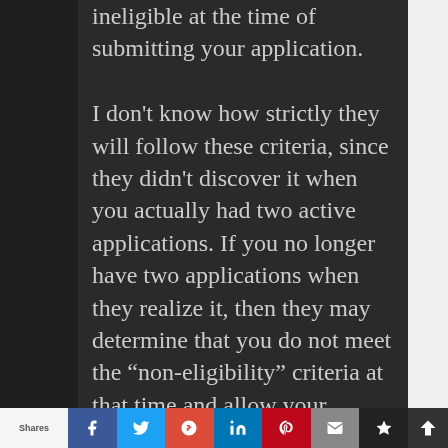ineligible at the time of submitting your application. I don't know how strictly they will follow these criteria, since they didn't discover it when you actually had two active applications. If you no longer have two applications when they realize it, then they may determine that you do not meet the “non-eligibility” criteria at that time and allow your application to go through. But there is always a chance that they could interpret it more strictly. If they do interpret it strictly
Shares